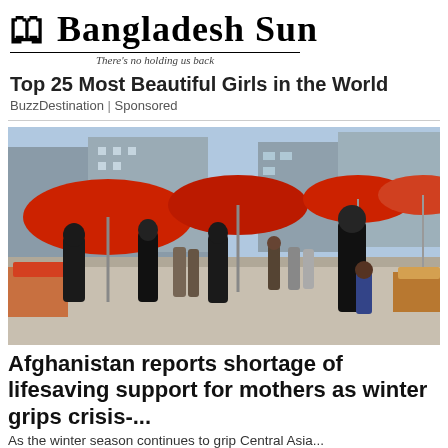Bangladesh Sun — There's no holding us back
Top 25 Most Beautiful Girls in the World
BuzzDestination | Sponsored
[Figure (photo): Street market scene in Afghanistan with people walking under large red umbrellas, vendors and crowds visible in the background.]
Afghanistan reports shortage of lifesaving support for mothers as winter grips crisis-...
As the winter season continues to grip Central Asia...